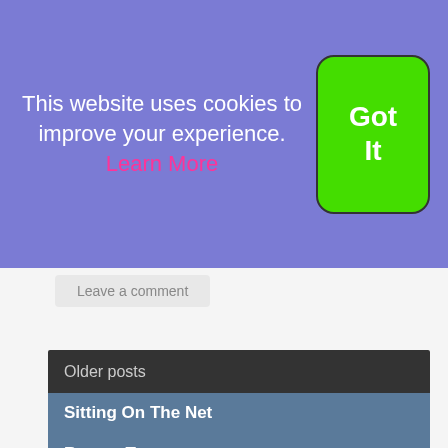This website uses cookies to improve your experience. Learn More
Got It
Leave a comment
Older posts
Sitting On The Net
Log in
Entries feed
Comments feed
WordPress.org
Recent Tweets